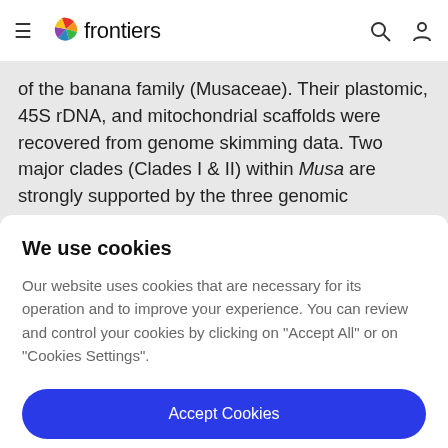frontiers
of the banana family (Musaceae). Their plastomic, 45S rDNA, and mitochondrial scaffolds were recovered from genome skimming data. Two major clades (Clades I & II) within Musa are strongly supported by the three genomic compartment data. We document, for the first
We use cookies
Our website uses cookies that are necessary for its operation and to improve your experience. You can review and control your cookies by clicking on "Accept All" or on "Cookies Settings".
Accept Cookies
Cookies Settings